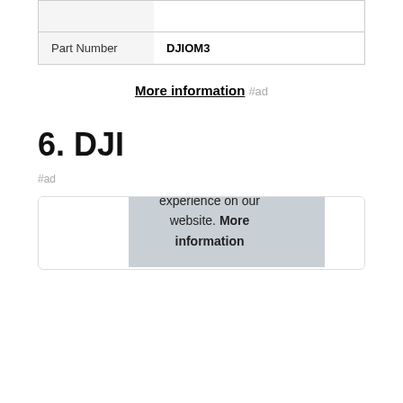|  |  |
| Part Number | DJIOM3 |
More information #ad
6. DJI
#ad
As an Amazon Associate I earn from qualifying purchases. This website uses the only necessary cookies to ensure you get the best experience on our website. More information